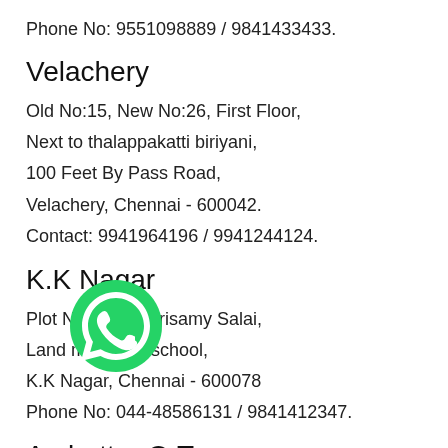Phone No: 9551098889 / 9841433433.
Velachery
Old No:15, New No:26, First Floor,
Next to thalappakatti biriyani,
100 Feet By Pass Road,
Velachery, Chennai - 600042.
Contact: 9941964196 / 9941244124.
K.K Nagar
Plot No:77, Alagirisamy Salai,
Land mark: CB school,
K.K Nagar, Chennai - 600078
Phone No: 044-48586131 / 9841412347.
[Figure (logo): WhatsApp logo - green circle with white phone handset icon]
Ambattur O.T